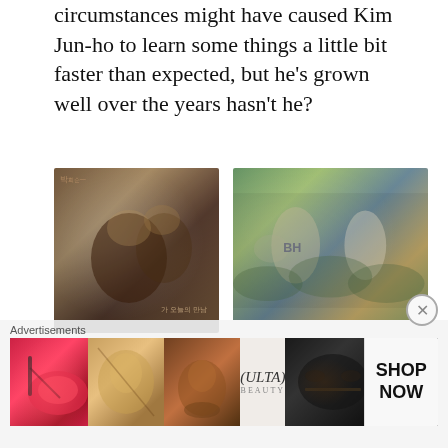circumstances might have caused Kim Jun-ho to learn some things a little bit faster than expected, but he's grown well over the years hasn't he?
[Figure (photo): Two people laughing together, promotional photo with Korean text watermark]
[Figure (photo): Two men talking outdoors, one wearing a BH sweatshirt and hat]
In the episode, we also got to see each member's relationship with Kim Joo-hyuk and how these relationships evolved over the span of the two years that he was on the show. 1N2D had been struggling with seasons prior so season 3's cast
Advertisements
[Figure (photo): Ulta Beauty advertisement banner showing makeup and beauty products with 'SHOP NOW' text]